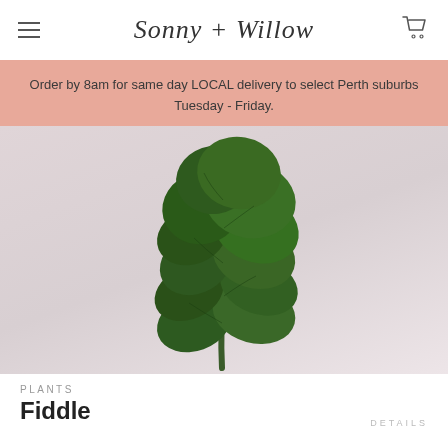Sonny + Willow
Order by 8am for same day LOCAL delivery to select Perth suburbs Tuesday - Friday.
[Figure (photo): A fiddle leaf fig plant with large dark green leaves photographed against a pale pink/mauve background]
PLANTS
Fiddle
DETAILS